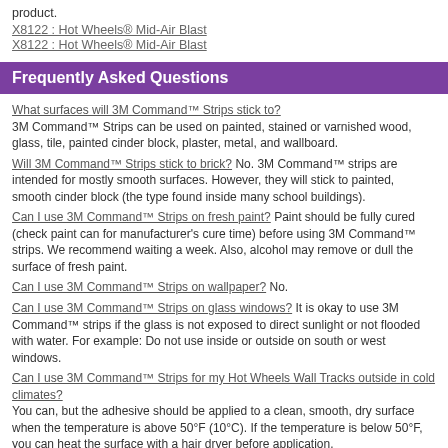product.
X8122 : Hot Wheels® Mid-Air Blast
X8122 : Hot Wheels® Mid-Air Blast
Frequently Asked Questions
What surfaces will 3M Command™ Strips stick to?
3M Command™ Strips can be used on painted, stained or varnished wood, glass, tile, painted cinder block, plaster, metal, and wallboard.
Will 3M Command™ Strips stick to brick? No. 3M Command™ strips are intended for mostly smooth surfaces. However, they will stick to painted, smooth cinder block (the type found inside many school buildings).
Can I use 3M Command™ Strips on fresh paint? Paint should be fully cured (check paint can for manufacturer's cure time) before using 3M Command™ strips. We recommend waiting a week. Also, alcohol may remove or dull the surface of fresh paint.
Can I use 3M Command™ Strips on wallpaper? No.
Can I use 3M Command™ Strips on glass windows? It is okay to use 3M Command™ strips if the glass is not exposed to direct sunlight or not flooded with water. For example: Do not use inside or outside on south or west windows.
Can I use 3M Command™ Strips for my Hot Wheels Wall Tracks outside in cold climates?
You can, but the adhesive should be applied to a clean, smooth, dry surface when the temperature is above 50°F (10°C). If the temperature is below 50°F, you can heat the surface with a hair dryer before application.